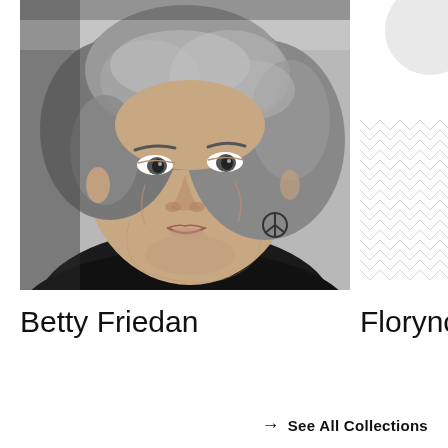[Figure (photo): Black and white portrait photograph of Betty Friedan smiling, with short wavy hair, wearing a peace sign earring]
[Figure (illustration): Partial view of another collection card showing a geometric pattern and partial circular shape, for 'Florynda' (name partially visible)]
Betty Friedan
Florync
→  See All Collections